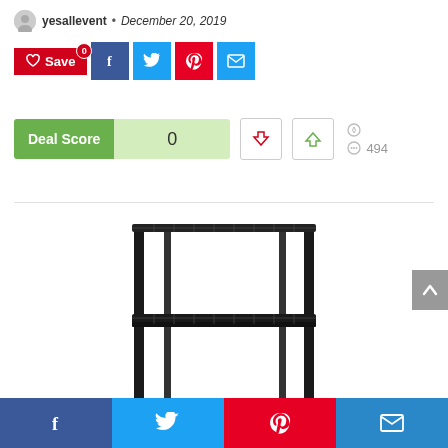yesallevent · December 20, 2019
[Figure (screenshot): Social sharing buttons: Save (red with heart icon), Facebook (blue), Twitter (light blue), Pinterest (red), Email (blue)]
[Figure (infographic): Deal Score widget showing score of 0, thumbs down button, thumbs up button, comment icon, and 494 views]
[Figure (photo): Black wire shelving unit with 3 visible tiers and vertical metal poles]
[Figure (screenshot): Bottom social sharing bar with Facebook, Twitter, Pinterest, and Email buttons]